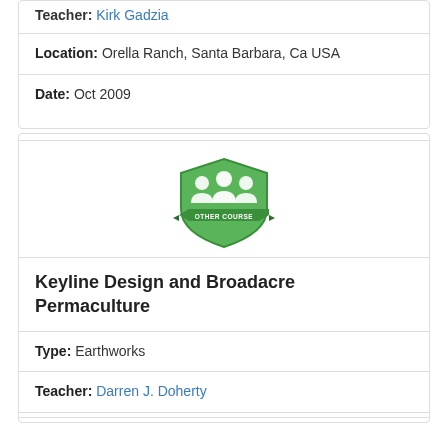Teacher: Kirk Gadzia
Location: Orella Ranch, Santa Barbara, Ca USA
Date: Oct 2009
[Figure (logo): Green shield badge with three person silhouettes and a ribbon reading OTHER COURSE]
Keyline Design and Broadacre Permaculture
Type: Earthworks
Teacher: Darren J. Doherty